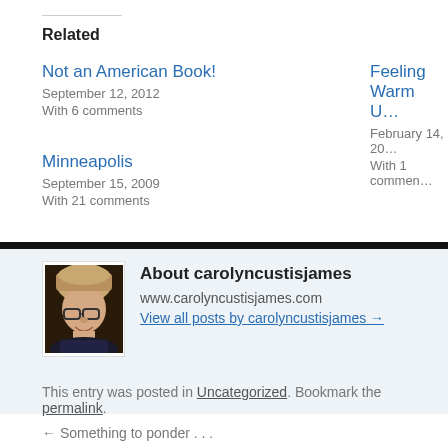Related
Not an American Book!
September 12, 2012
With 6 comments
Feeling Warm U…
February 14, 20…
With 1 commen…
Minneapolis
September 15, 2009
With 21 comments
About carolyncustisjames
www.carolyncustisjames.com
View all posts by carolyncustisjames →
This entry was posted in Uncategorized. Bookmark the permalink.
← Something to ponder . . .